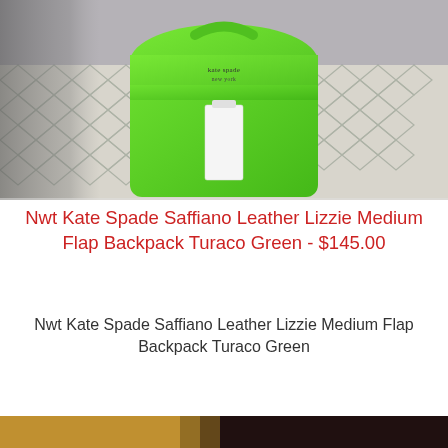[Figure (photo): A bright green Kate Spade Saffiano Leather Lizzie Medium Flap Backpack photographed on a patterned floor with a white price tag attached. A dark-furred animal is partially visible on the left side.]
Nwt Kate Spade Saffiano Leather Lizzie Medium Flap Backpack Turaco Green - $145.00
Nwt Kate Spade Saffiano Leather Lizzie Medium Flap Backpack Turaco Green
[Figure (photo): Bottom strip of a second photo partially visible at the very bottom of the page, showing warm brown/tan tones on left and dark tones on right.]